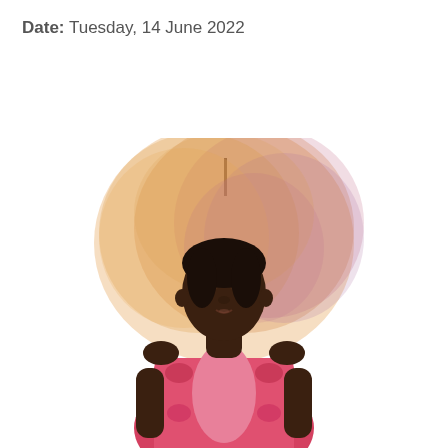Date: Tuesday, 14 June 2022
[Figure (illustration): Illustration of a young African woman wearing a red and pink patterned dress (African wax print fabric), with a large colorful afro-style hair halo in warm orange, pink, and purple watercolor tones behind her head. She is depicted from the waist up, looking slightly upward. The style is a digital graphic illustration with a white background.]